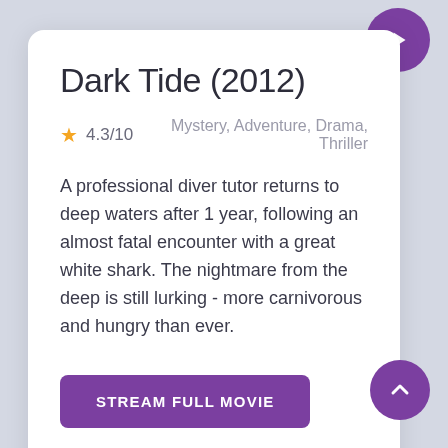Dark Tide (2012)
★ 4.3/10     Mystery, Adventure, Drama, Thriller
A professional diver tutor returns to deep waters after 1 year, following an almost fatal encounter with a great white shark. The nightmare from the deep is still lurking - more carnivorous and hungry than ever.
STREAM FULL MOVIE